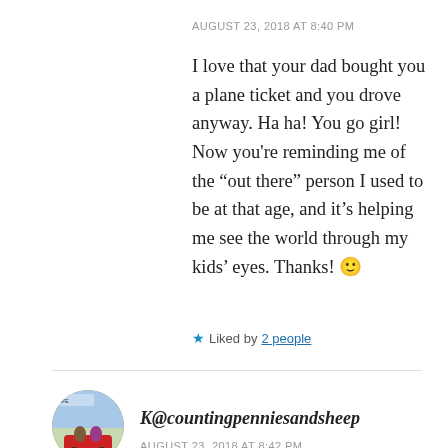AUGUST 23, 2018 AT 8:40 PM
I love that your dad bought you a plane ticket and you drove anyway. Ha ha! You go girl! Now you're reminding me of the “out there” person I used to be at that age, and it’s helping me see the world through my kids’ eyes. Thanks! 🙂
Liked by 2 people
[Figure (photo): Circular avatar image of K@countingpenniesandsheep showing children on a red toy car outdoors]
K@countingpenniesandsheep
AUGUST 23, 2018 AT 8:42 PM